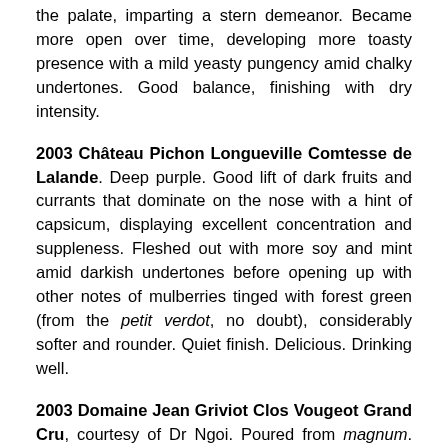the palate, imparting a stern demeanor. Became more open over time, developing more toasty presence with a mild yeasty pungency amid chalky undertones. Good balance, finishing with dry intensity.
2003 Château Pichon Longueville Comtesse de Lalande. Deep purple. Good lift of dark fruits and currants that dominate on the nose with a hint of capsicum, displaying excellent concentration and suppleness. Fleshed out with more soy and mint amid darkish undertones before opening up with other notes of mulberries tinged with forest green (from the petit verdot, no doubt), considerably softer and rounder. Quiet finish. Delicious. Drinking well.
2003 Domaine Jean Griviot Clos Vougeot Grand Cru, courtesy of Dr Ngoi. Poured from magnum. Much darker